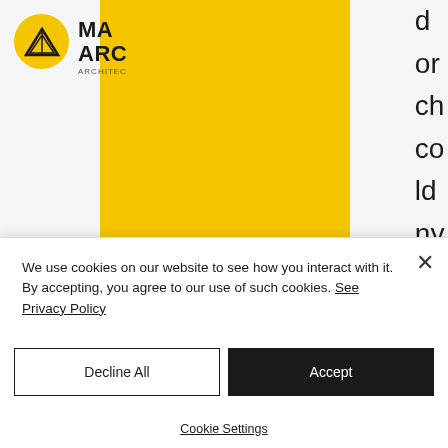[Figure (screenshot): Partial view of an architecture firm website (MA ARC / ARCHITECTU...) with a large yellow rectangular block overlaying center of the page and partial text fragments visible on the right side.]
We use cookies on our website to see how you interact with it. By accepting, you agree to our use of such cookies. See Privacy Policy
Decline All
Accept
Cookie Settings